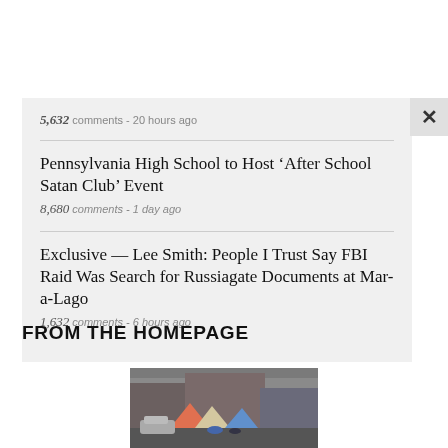5,632 comments - 20 hours ago
Pennsylvania High School to Host ‘After School Satan Club’ Event
8,680 comments - 1 day ago
Exclusive — Lee Smith: People I Trust Say FBI Raid Was Search for Russiagate Documents at Mar-a-Lago
1,632 comments - 6 hours ago
FROM THE HOMEPAGE
[Figure (photo): Street scene with tents and parked vehicles, likely depicting a homeless encampment]